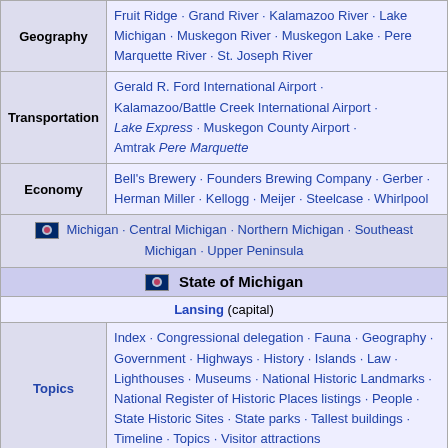| Geography | Fruit Ridge · Grand River · Kalamazoo River · Lake Michigan · Muskegon River · Muskegon Lake · Pere Marquette River · St. Joseph River |
| Transportation | Gerald R. Ford International Airport · Kalamazoo/Battle Creek International Airport · Lake Express · Muskegon County Airport · Amtrak Pere Marquette |
| Economy | Bell's Brewery · Founders Brewing Company · Gerber · Herman Miller · Kellogg · Meijer · Steelcase · Whirlpool |
| [flag] Michigan · Central Michigan · Northern Michigan · Southeast Michigan · Upper Peninsula |  |
| State of Michigan |  |
| Lansing (capital) |  |
| Topics | Index · Congressional delegation · Fauna · Geography · Government · Highways · History · Islands · Law · Lighthouses · Museums · National Historic Landmarks · National Register of Historic Places listings · People · State Historic Sites · State parks · Tallest buildings · Timeline · Topics · Visitor attractions |
| Society | Culture · Crime · Demographics · Economy · Education · Politics |